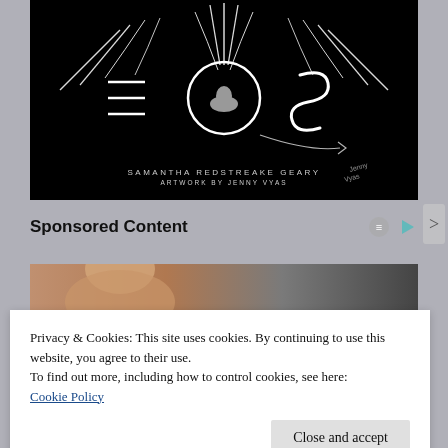[Figure (illustration): Book cover for 'EOS' by Samantha Redstreake Geary with artwork by Jenny Vyas. Black background with white stylized bird/wings and circular design with letters E, O, S. Author name and artwork credit at bottom in small caps.]
Sponsored Content
[Figure (photo): Partial photo of a person, cropped, with warm indoor background.]
Privacy & Cookies: This site uses cookies. By continuing to use this website, you agree to their use.
To find out more, including how to control cookies, see here:
Cookie Policy
Close and accept